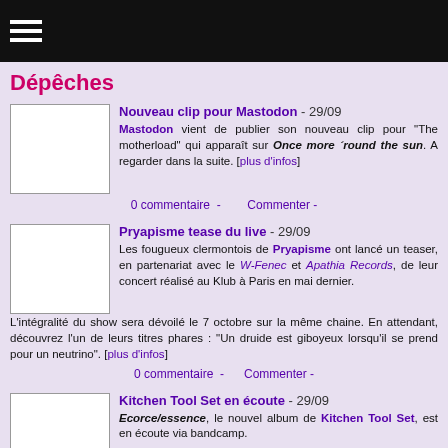≡
Dépêches
Nouveau clip pour Mastodon - 29/09
Mastodon vient de publier son nouveau clip pour "The motherload" qui apparaît sur Once more 'round the sun. A regarder dans la suite. [plus d'infos]
0 commentaire - Commenter -
Pryapisme tease du live - 29/09
Les fougueux clermontois de Pryapisme ont lancé un teaser, en partenariat avec le W-Fenec et Apathia Records, de leur concert réalisé au Klub à Paris en mai dernier. L'intégralité du show sera dévoilé le 7 octobre sur la même chaine. En attendant, découvrez l'un de leurs titres phares : "Un druide est giboyeux lorsqu'il se prend pour un neutrino". [plus d'infos]
0 commentaire - Commenter -
Kitchen Tool Set en écoute - 29/09
Ecorce/essence, le nouvel album de Kitchen Tool Set, est en écoute via bandcamp.